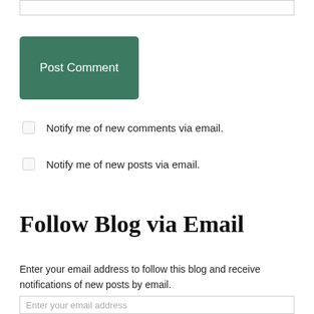[text input box]
Post Comment
Notify me of new comments via email.
Notify me of new posts via email.
Follow Blog via Email
Enter your email address to follow this blog and receive notifications of new posts by email.
Enter your email address